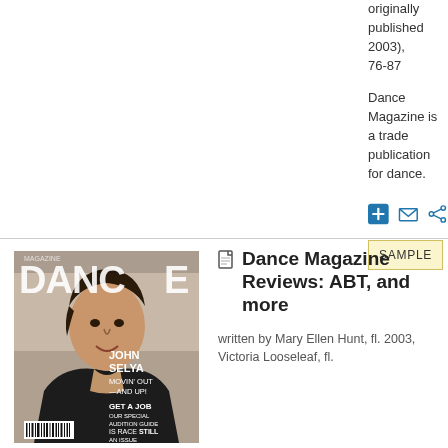originally published 2003), 76-87
Dance Magazine is a trade publication for dance.
[Figure (other): Action buttons: add (+), email (envelope), share icons, and a SAMPLE button]
[Figure (photo): Cover of Dance Magazine featuring John Selya with text: JOHN SELYA, MOVIN' OUT—AND UP!, GET A JOB OUR SPECIAL AUDITION GUIDE, IS RACE STILL AN ISSUE]
Dance Magazine Reviews: ABT, and more
written by Mary Ellen Hunt, fl. 2003, Victoria Looseleaf, fl.